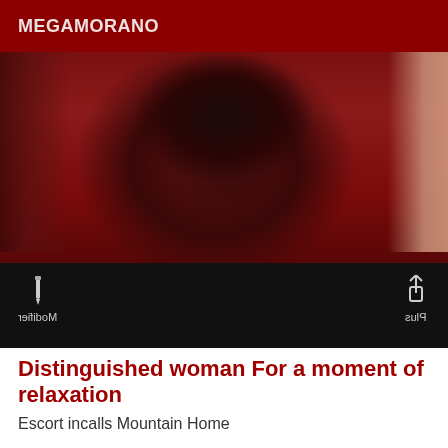MEGAMORANO
[Figure (photo): Close-up photo of a woman wearing dark red/maroon lingerie with black lace detail at the neckline, partial view of bare skin on right side, with a dark toolbar overlay at bottom showing Modifier and Plus icons]
Distinguished woman For a moment of relaxation
Escort incalls Mountain Home
Very beautiful brunette of 29 years old. Accepting only gentlemen from 30 years old, 1M68, soft, charming